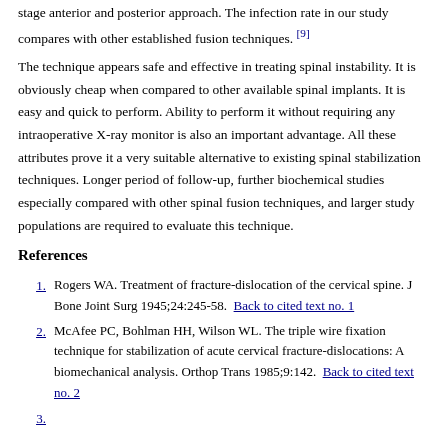stage anterior and posterior approach. The infection rate in our study compares with other established fusion techniques. [9]
The technique appears safe and effective in treating spinal instability. It is obviously cheap when compared to other available spinal implants. It is easy and quick to perform. Ability to perform it without requiring any intraoperative X-ray monitor is also an important advantage. All these attributes prove it a very suitable alternative to existing spinal stabilization techniques. Longer period of follow-up, further biochemical studies especially compared with other spinal fusion techniques, and larger study populations are required to evaluate this technique.
References
1. Rogers WA. Treatment of fracture-dislocation of the cervical spine. J Bone Joint Surg 1945;24:245-58.  Back to cited text no. 1
2. McAfee PC, Bohlman HH, Wilson WL. The triple wire fixation technique for stabilization of acute cervical fracture-dislocations: A biomechanical analysis. Orthop Trans 1985;9:142.  Back to cited text no. 2
3.